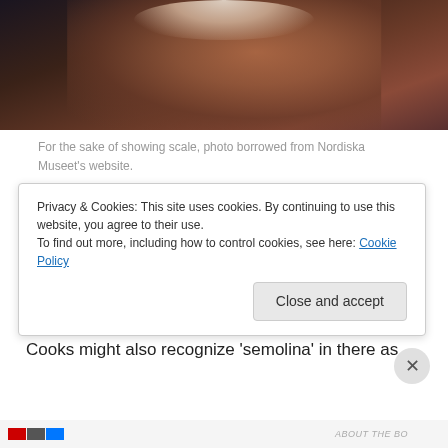[Figure (photo): Partial photo showing a person in a reddish-pink patterned garment holding what appears to be a cream-topped pastry (semla), dark background, cropped at top]
For the sake of showing scale, photo borrowed from Nordiska Museet's website.
In Sweden, the treat of choice on this special day is the Semla – a marvelous kardamom wheat bun filled with almond paste and whipped cream – often served swimming in warmed milk. Sooo yummy! The name Semla is derived from the Latin word for fine wheat flour – simila.
Cooks might also recognize 'semolina' in there as the
Privacy & Cookies: This site uses cookies. By continuing to use this website, you agree to their use.
To find out more, including how to control cookies, see here: Cookie Policy
Close and accept